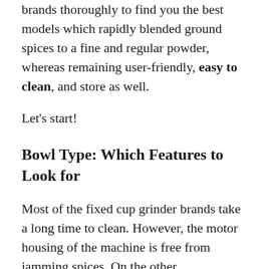brands thoroughly to find you the best models which rapidly blended ground spices to a fine and regular powder, whereas remaining user-friendly, easy to clean, and store as well.
Let’s start!
Bowl Type: Which Features to Look for
Most of the fixed cup grinder brands take a long time to clean. However, the motor housing of the machine is free from jamming spices. On the other